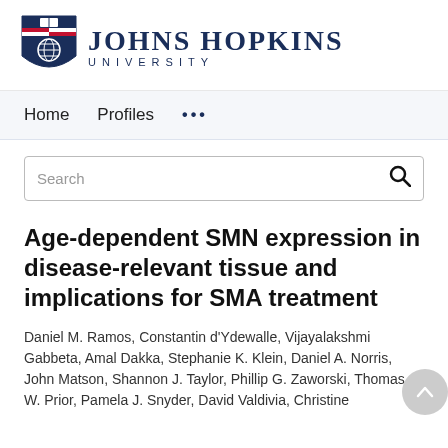[Figure (logo): Johns Hopkins University logo with shield emblem and university name in blue]
Home   Profiles   ...
Search
Age-dependent SMN expression in disease-relevant tissue and implications for SMA treatment
Daniel M. Ramos, Constantin d'Ydewalle, Vijayalakshmi Gabbeta, Amal Dakka, Stephanie K. Klein, Daniel A. Norris, John Matson, Shannon J. Taylor, Phillip G. Zaworski, Thomas W. Prior, Pamela J. Snyder, David Valdivia, Christine